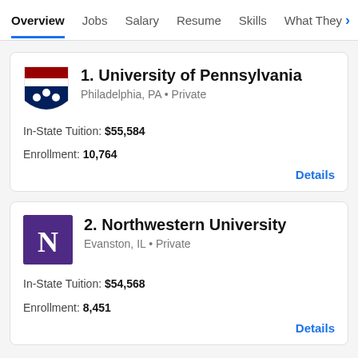Overview | Jobs | Salary | Resume | Skills | What They >
1. University of Pennsylvania
Philadelphia, PA • Private
In-State Tuition: $55,584
Enrollment: 10,764
Details
2. Northwestern University
Evanston, IL • Private
In-State Tuition: $54,568
Enrollment: 8,451
Details